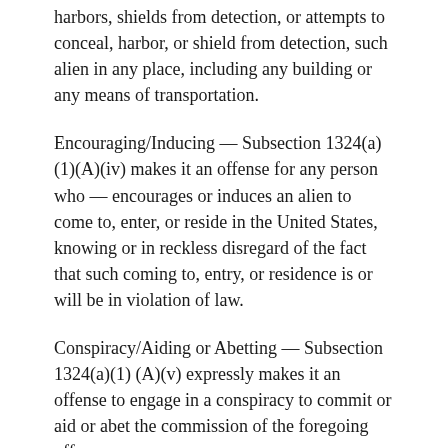harbors, shields from detection, or attempts to conceal, harbor, or shield from detection, such alien in any place, including any building or any means of transportation.
Encouraging/Inducing — Subsection 1324(a)(1)(A)(iv) makes it an offense for any person who — encourages or induces an alien to come to, enter, or reside in the United States, knowing or in reckless disregard of the fact that such coming to, entry, or residence is or will be in violation of law.
Conspiracy/Aiding or Abetting — Subsection 1324(a)(1)(A)(v) expressly makes it an offense to engage in a conspiracy to commit or aid or abet the commission of the foregoing offenses.